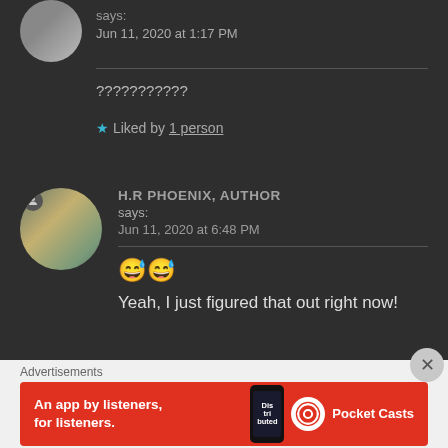says:
Jun 11, 2020 at 1:17 PM
???????????
★ Liked by 1 person
H.R PHOENIX, AUTHOR says:
Jun 11, 2020 at 6:48 PM
😅😅
Yeah, I just figured that out right now!
Advertisements
[Figure (illustration): Pocket Casts advertisement banner: red background with text 'An app by listeners, for listeners.' and Pocket Casts logo with a phone showing 'Distributed' text.]